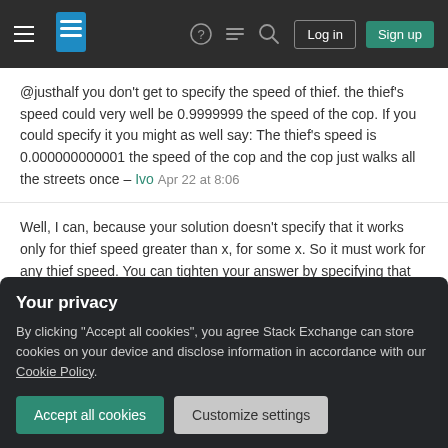Stack Exchange navigation bar with hamburger menu, logo, help, chat, search, Log in, Sign up
@justhalf you don't get to specify the speed of thief. the thief's speed could very well be 0.9999999 the speed of the cop. If you could specify it you might as well say: The thief's speed is 0.000000000001 the speed of the cop and the cop just walks all the streets once – Ivo Apr 22 at 8:06
Well, I can, because your solution doesn't specify that it works only for thief speed greater than x, for some x. So it must work for any thief speed. You can tighten your answer by specifying that when thief speed is less than x1, they will be caught [in this way], if it's greater, they may not be caught by [this way], similar to ralph's
Your privacy
By clicking "Accept all cookies", you agree Stack Exchange can store cookies on your device and disclose information in accordance with our Cookie Policy.
Accept all cookies
Customize settings
like 0.999999, is enough to disprove the cop being able